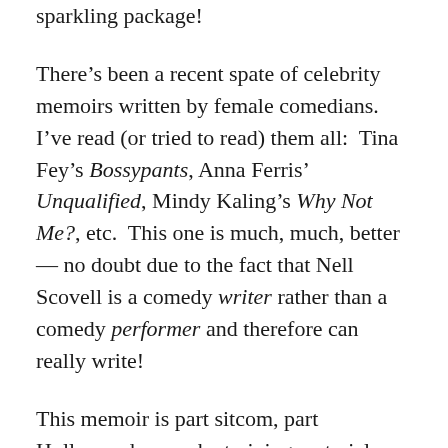sparkling package!
There’s been a recent spate of celebrity memoirs written by female comedians. I’ve read (or tried to read) them all:  Tina Fey’s Bossypants, Anna Ferris’ Unqualified, Mindy Kaling’s Why Not Me?, etc.  This one is much, much, better — no doubt due to the fact that Nell Scovell is a comedy writer rather than a comedy performer and therefore can really write!
This memoir is part sitcom, part Hollywood wannabe training material, and part exposé on the difficulties of women getting fair treatment (or any treatment at all, really) in the industry.